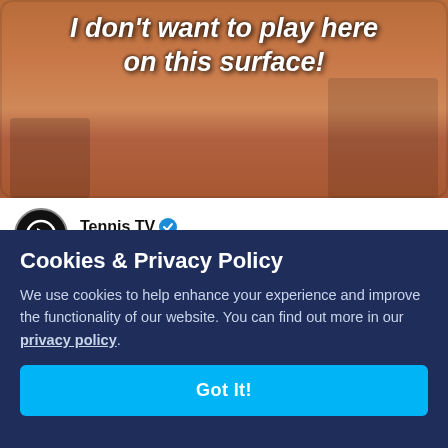[Figure (screenshot): Tennis player on clay court with overlaid text quote: 'I don't want to play here on this surface!']
Tennis TV @TennisTV · Follow
*Mohamed Lahyani voice* CORRECTION!

@DaniilMedwed DOES love clay 💕
Cookies & Privacy Policy
We use cookies to help enhance your experience and improve the functionality of our website. You can find out more in our privacy policy.
Got It!